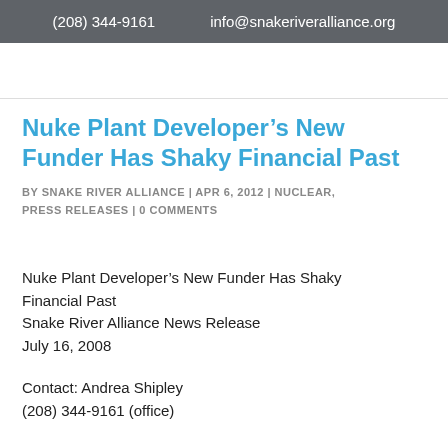(208) 344-9161   info@snakeriveralliance.org
Nuke Plant Developer’s New Funder Has Shaky Financial Past
BY SNAKE RIVER ALLIANCE | APR 6, 2012 | NUCLEAR, PRESS RELEASES | 0 COMMENTS
Nuke Plant Developer’s New Funder Has Shaky Financial Past
Snake River Alliance News Release
July 16, 2008
Contact: Andrea Shipley
(208) 344-9161 (office)